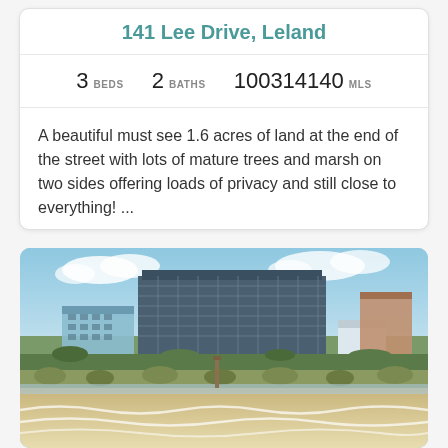141 Lee Drive, Leland
3 BEDS   2 BATHS   100314140 MLS
A beautiful must see 1.6 acres of land at the end of the street with lots of mature trees and marsh on two sides offering loads of privacy and still close to everything! ...
[Figure (photo): Aerial photo of a large multi-story beachfront condominium building in a coastal town, viewed from the beach side, showing sandy beach and ocean waves in the foreground, surrounding low-rise buildings, and blue sky with clouds above.]